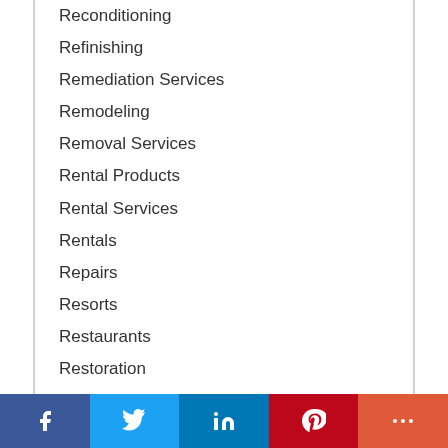Reconditioning
Refinishing
Remediation Services
Remodeling
Removal Services
Rental Products
Rental Services
Rentals
Repairs
Resorts
Restaurants
Restoration
Retailers
Retailers - Local
[Figure (infographic): Social media share bar with Facebook, Twitter, LinkedIn, Pinterest, and More buttons]